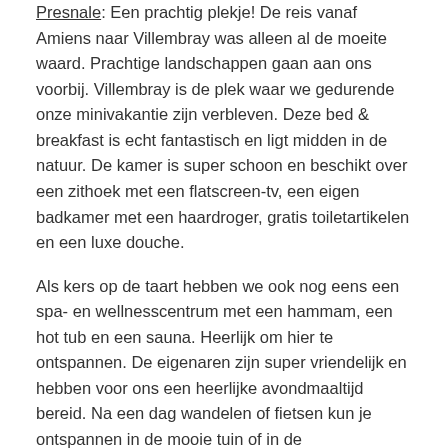Presnale: Een prachtig plekje! De reis vanaf Amiens naar Villembray was alleen al de moeite waard. Prachtige landschappen gaan aan ons voorbij. Villembray is de plek waar we gedurende onze minivakantie zijn verbleven. Deze bed & breakfast is echt fantastisch en ligt midden in de natuur. De kamer is super schoon en beschikt over een zithoek met een flatscreen-tv, een eigen badkamer met een haardroger, gratis toiletartikelen en een luxe douche.
Als kers op de taart hebben we ook nog eens een spa- en wellnesscentrum met een hammam, een hot tub en een sauna. Heerlijk om hier te ontspannen. De eigenaren zijn super vriendelijk en hebben voor ons een heerlijke avondmaaltijd bereid. Na een dag wandelen of fietsen kun je ontspannen in de mooie tuin of in de gemeenschappelijke lounge.